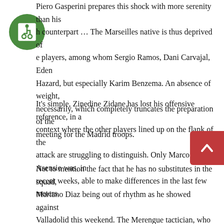[Figure (illustration): Green circular accessibility icon with wheelchair symbol in white]
Piero Gasperini prepares this shock with more serenity than his h counterpart … The Marseilles native is thus deprived of e players, among whom Sergio Ramos, Dani Carvajal, Eden Hazard, but especially Karim Benzema. An absence of weight, necessarily, which completely truncates the preparation of the meeting for the Madrid troops.
It's simple, Zinedine Zidane has lost his offensive reference, in a context where the other players lined up on the flank of the attack are struggling to distinguish. Only Marco Asensio was, in recent weeks, able to make differences in the last few meters.
Not to mention the fact that he has no substitutes in the squad, Mariano Diaz being out of rhythm as he showed against Valladolid this weekend. The Merengue tactician, who let Luka Jovic go on loan to Eintracht Frankfurt in January, therefore has few, if any, real alternatives to cover the absence of his number 9.
[Figure (illustration): Red scroll-to-top button with upward chevron arrow]